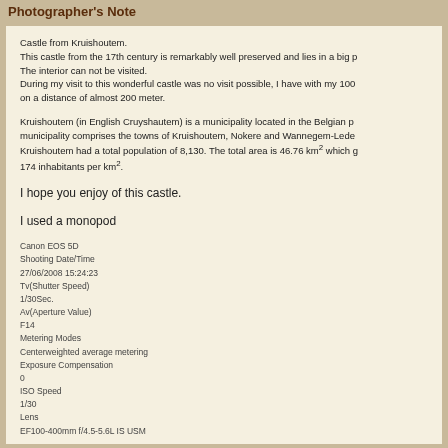Photographer's Note
Castle from Kruishoutem.
This castle from the 17th century is remarkably well preserved and lies in a big p...
The interior can not be visited.
During my visit to this wonderful castle was no visit possible, I have with my 100...
on a distance of almost 200 meter.
Kruishoutem (in English Cruyshautem) is a municipality located in the Belgian p...
municipality comprises the towns of Kruishoutem, Nokere and Wannegem-Lede...
Kruishoutem had a total population of 8,130. The total area is 46.76 km² which g...
174 inhabitants per km².
I hope you enjoy of this castle.
I used a monopod
Canon EOS 5D
Shooting Date/Time
27/06/2008 15:24:23
Tv(Shutter Speed)
1/30Sec.
Av(Aperture Value)
F14
Metering Modes
Centerweighted average metering
Exposure Compensation
0
ISO Speed
1/30
Lens
EF100-400mm f/4.5-5.6L IS USM